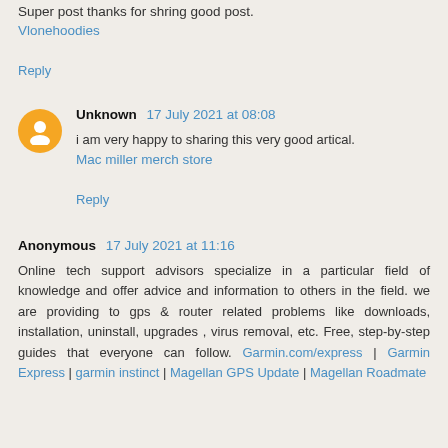Super post thanks for shring good post.
Vlonehoodies
Reply
Unknown 17 July 2021 at 08:08
i am very happy to sharing this very good artical.
Mac miller merch store
Reply
Anonymous 17 July 2021 at 11:16
Online tech support advisors specialize in a particular field of knowledge and offer advice and information to others in the field. we are providing to gps & router related problems like downloads, installation, uninstall, upgrades , virus removal, etc. Free, step-by-step guides that everyone can follow. Garmin.com/express | Garmin Express | garmin instinct | Magellan GPS Update | Magellan Roadmate